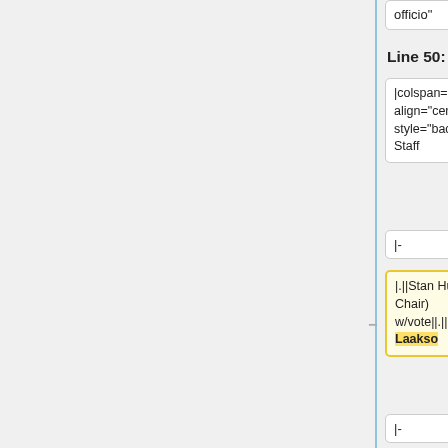officio"
Line 50:
Line 50:
|colspan="2" align="center" style="background:#f0f0f0;"|HL7 Staff
|colspan="2" align="center" style="background:#f0f0f0;"|HL7 Staff
|-
|-
|.||Stan Huff (HL7 Chair) w/vote||.||||.||"obs1"||.||Lynn Laakso
|.||Stan Huff (HL7 Chair) w/vote||.||||.||"obs1"||.||Anne Wizauer
|-
|-
|.||Doug Fridsma HL7 Chair-Elect <s>vote</s>||.||.||.||"obs2"||.||
|.||Doug Fridsma HL7 Chair-Elect <s>vote</s>||.||.||.||"obs2"||.||
Line 72:
Line 72: